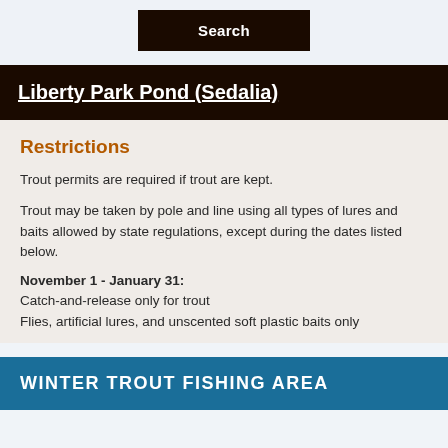Search
Liberty Park Pond (Sedalia)
Restrictions
Trout permits are required if trout are kept.
Trout may be taken by pole and line using all types of lures and baits allowed by state regulations, except during the dates listed below.
November 1 - January 31:
Catch-and-release only for trout
Flies, artificial lures, and unscented soft plastic baits only
WINTER TROUT FISHING AREA